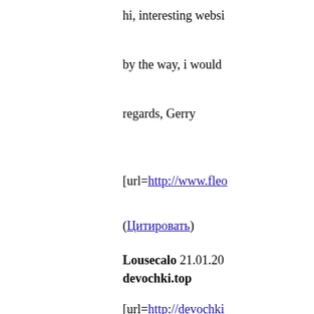hi, interesting websi
by the way, i would
regards, Gerry
[url=http://www.fleo
(Цитировать)
Lousecalo 21.01.20
devochki.top
[url=http://devochki
[url=http://devochki
[url=http://devochki
[url=http://devochki
[url=http://devochki
(Цитировать)